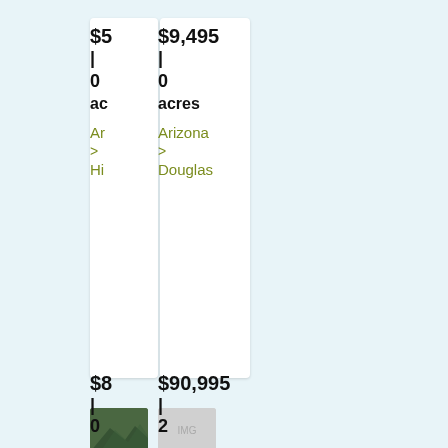$5 | 0 ac
$9,495 | 0 acres
Ar > Hi
Arizona > Douglas
[Figure (photo): Small thumbnail photo of a mountain/landscape in green]
[Figure (photo): Small thumbnail placeholder image in grey]
$8 | 0
$90,995 | 2